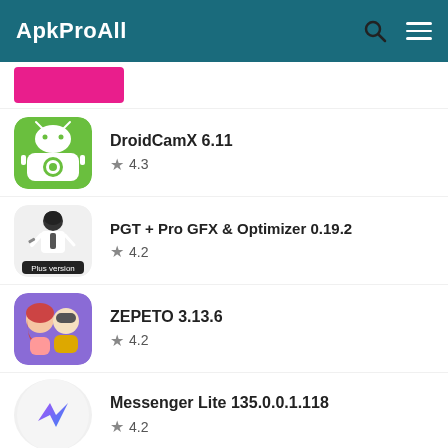ApkProAll
[Figure (screenshot): Pink banner/button partially visible at top of content area]
DroidCamX 6.11
★ 4.3
PGT + Pro GFX & Optimizer 0.19.2
★ 4.2
ZEPETO 3.13.6
★ 4.2
Messenger Lite 135.0.0.1.118
★ 4.2